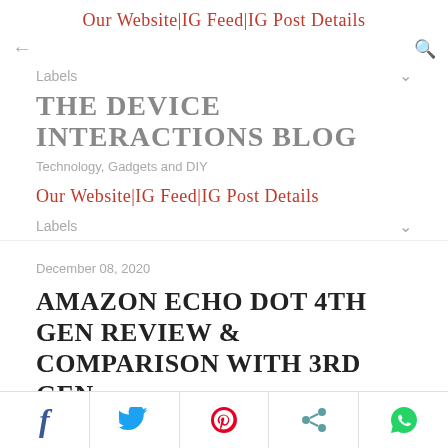Our Website|IG Feed|IG Post Details
Labels
THE DEVICE INTERACTIONS BLOG
Technology, Gadgets and DIY
Our Website|IG Feed|IG Post Details
Labels
December 08, 2020
AMAZON ECHO DOT 4TH GEN REVIEW & COMPARISON WITH 3RD GEN
Amazon recently released an entirely new generation of
Social share bar: Facebook, Twitter, Pinterest, Share, WhatsApp